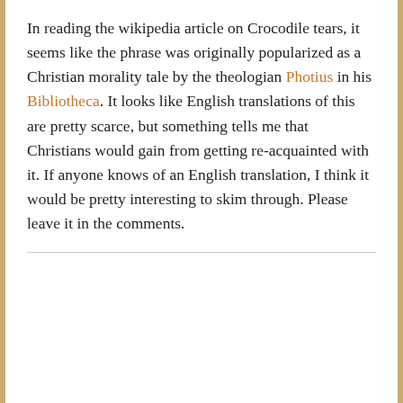In reading the wikipedia article on Crocodile tears, it seems like the phrase was originally popularized as a Christian morality tale by the theologian Photius in his Bibliotheca. It looks like English translations of this are pretty scarce, but something tells me that Christians would gain from getting re-acquainted with it. If anyone knows of an English translation, I think it would be pretty interesting to skim through. Please leave it in the comments.
Find other great dissident right content with the two Atavisionary RSS feeds: Atavisions and Prolific Atavisions. In addition, download the free ebook: Smart